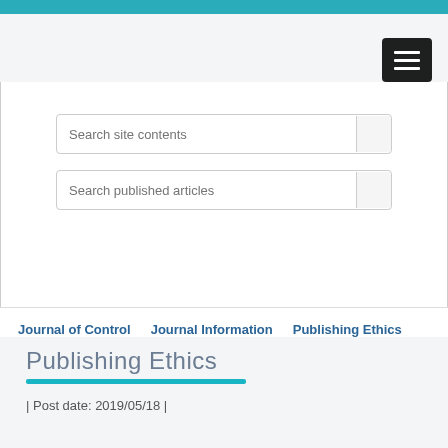Search site contents
Search published articles
Journal of Control  Journal Information  Publishing Ethics
Publishing Ethics
| Post date: 2019/05/18 |